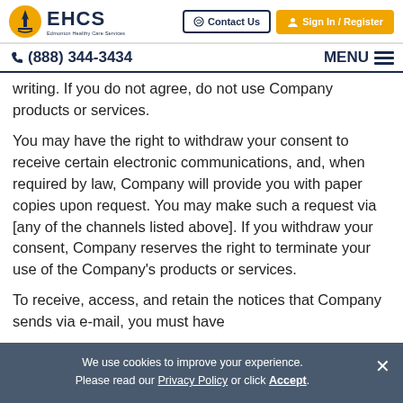EHCS | Contact Us | Sign In / Register
(888) 344-3434 | MENU
writing. If you do not agree, do not use Company products or services.
You may have the right to withdraw your consent to receive certain electronic communications, and, when required by law, Company will provide you with paper copies upon request. You may make such a request via [any of the channels listed above]. If you withdraw your consent, Company reserves the right to terminate your use of the Company’s products or services.
To receive, access, and retain the notices that Company sends via e-mail, you must have
We use cookies to improve your experience. Please read our Privacy Policy or click Accept.